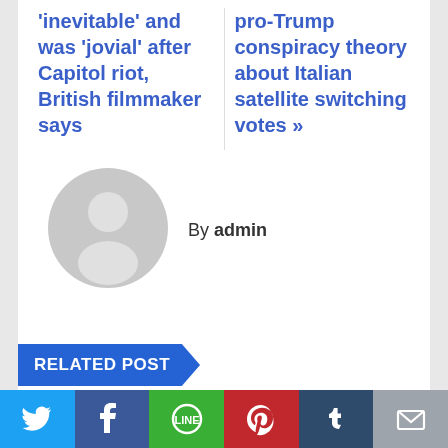'inevitable' and was 'jovial' after Capitol riot, British filmmaker says
pro-Trump conspiracy theory about Italian satellite switching votes »
By admin
[Figure (illustration): Grey circular avatar placeholder icon with silhouette of a person]
RELATED POST
[Figure (infographic): Social sharing bar with Twitter, Facebook, LINE, Pinterest, Tumblr, and email buttons]